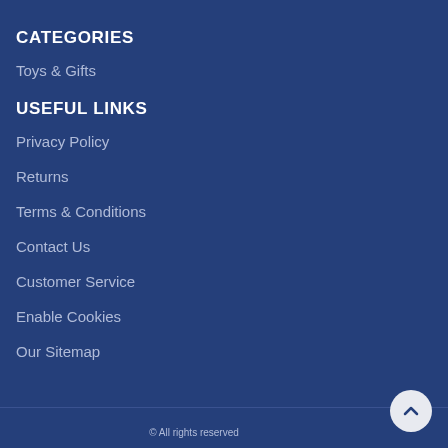CATEGORIES
Toys & Gifts
USEFUL LINKS
Privacy Policy
Returns
Terms & Conditions
Contact Us
Customer Service
Enable Cookies
Our Sitemap
© All rights reserved